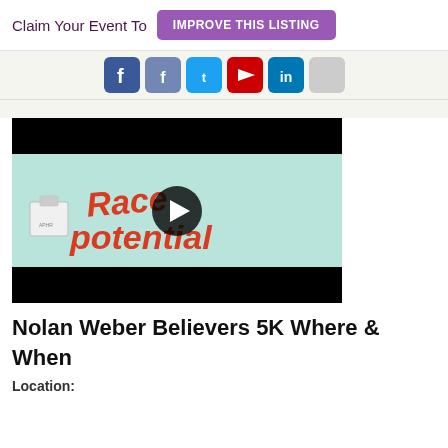Claim Your Event To  IMPROVE THIS LISTING
[Figure (screenshot): Social media share icons: Facebook, Twitter, YouTube, LinkedIn, and another icon in a light beige bar]
[Figure (screenshot): Video thumbnail showing animated text 'Race Potential' in red bubbly letters on a light teal background with a play button overlay and black letterbox bars]
Nolan Weber Believers 5K Where & When
Location: